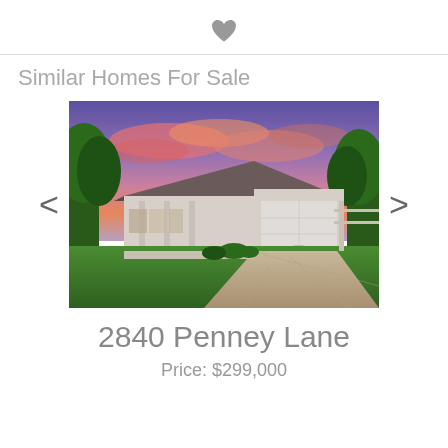[Figure (other): Heart/favorite icon (gray filled heart)]
Similar Homes For Sale
[Figure (photo): Photo of a single-story ranch-style home with a two-car garage, concrete driveway, green lawn, trees, and a colorful sunset sky with pink and purple clouds]
2840 Penney Lane
Price: $299,000